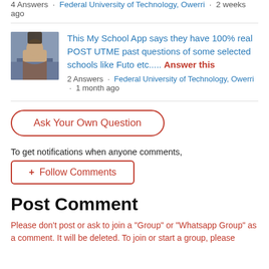4 Answers · Federal University of Technology, Owerri · 2 weeks ago
This My School App says they have 100% real POST UTME past questions of some selected schools like Futo etc..... Answer this
2 Answers · Federal University of Technology, Owerri · 1 month ago
Ask Your Own Question
To get notifications when anyone comments,
+ Follow Comments
Post Comment
Please don't post or ask to join a "Group" or "Whatsapp Group" as a comment. It will be deleted. To join or start a group, please